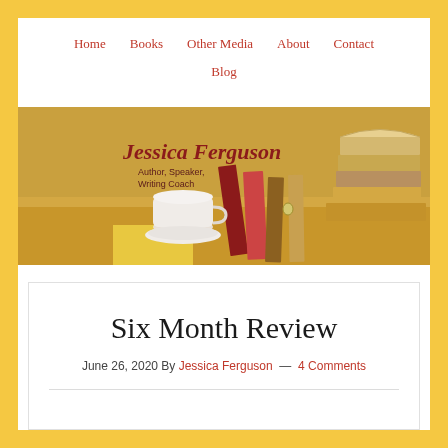Home | Books | Other Media | About | Contact | Blog
[Figure (photo): Banner image for Jessica Ferguson blog — shows stacked vintage books and a white coffee cup on a yellow surface, with cursive text reading 'Jessica Ferguson, Author, Speaker, Writing Coach']
Six Month Review
June 26, 2020 By Jessica Ferguson — 4 Comments